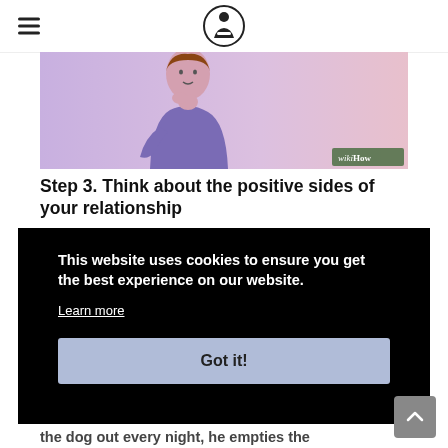wikiHow
[Figure (illustration): Illustration of a person in a purple top with hand on chin in a thinking pose, pink gradient background, wikiHow watermark in bottom right]
Step 3. Think about the positive sides of your relationship
If this is a problem with your boyfriend (or girlfriend), think about all the good times you have together.
This website uses cookies to ensure you get the best experience on our website.
Learn more
Got it!
the dog out every night, he empties the